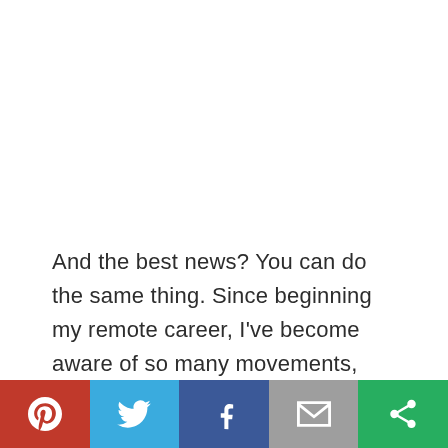And the best news? You can do the same thing. Since beginning my remote career, I've become aware of so many movements, resources, and
[Figure (infographic): Social sharing bar with five buttons: Pinterest (red), Twitter (light blue), Facebook (dark blue), Email (gray), and a share/copy icon (green)]